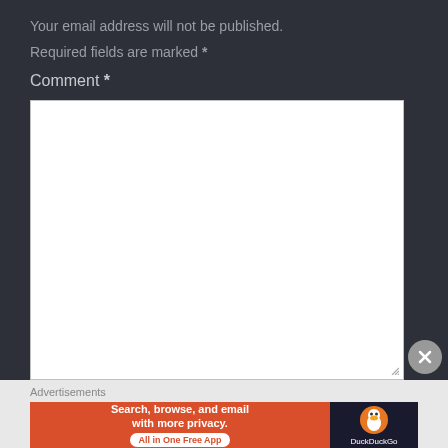Your email address will not be published.
Required fields are marked *
Comment *
[Figure (screenshot): Empty white comment textarea input box with resize handle at bottom right]
Advertisements
[Figure (screenshot): DuckDuckGo advertisement banner: orange left side reads 'Search, browse, and email with more privacy. All in One Free App', dark right side shows DuckDuckGo logo and name]